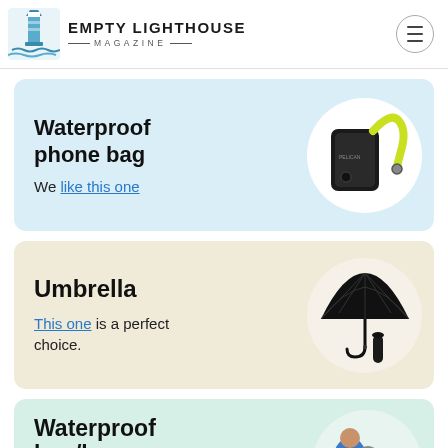Empty Lighthouse Magazine
[Figure (illustration): Waterproof phone bag with black case and yellow-green lanyard in circular white frame on light blue card]
Waterproof phone bag
We like this one
[Figure (illustration): Black compact folding umbrella open and folded, shown in circular white frame on cream card]
Umbrella
This one is a perfect choice.
[Figure (illustration): Waterproof bag/luggage cover — person with blue jacket and grey backpack rain cover, partially visible]
Waterproof bag/luggage